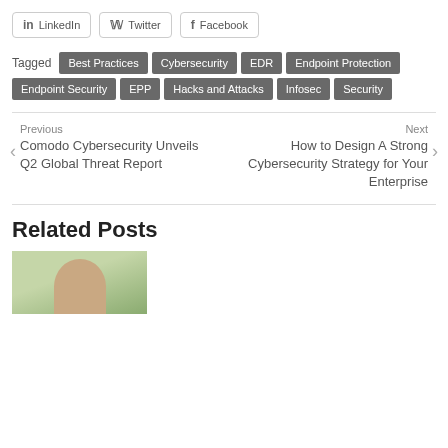LinkedIn
Twitter
Facebook
Tagged  Best Practices  Cybersecurity  EDR  Endpoint Protection  Endpoint Security  EPP  Hacks and Attacks  Infosec  Security
Previous
Comodo Cybersecurity Unveils Q2 Global Threat Report
Next
How to Design A Strong Cybersecurity Strategy for Your Enterprise
Related Posts
[Figure (photo): Photo of a person outdoors on green background]